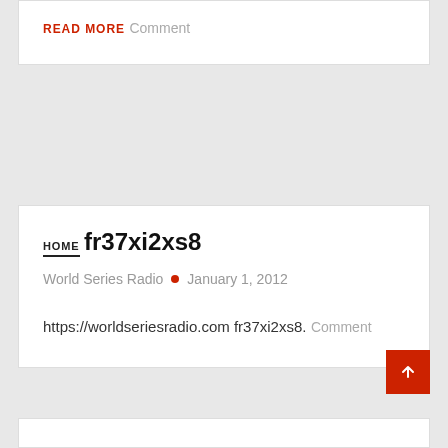READ MORE
Comment
HOME
fr37xi2xs8
World Series Radio • January 1, 2012
https://worldseriesradio.com fr37xi2xs8.
Comment